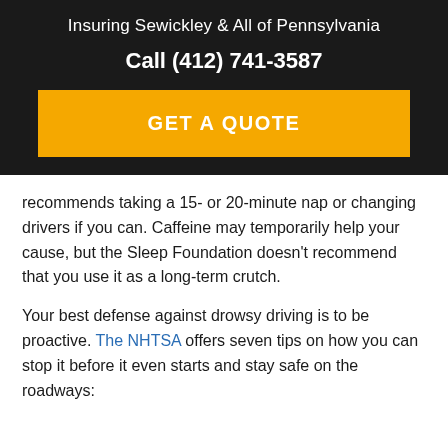Insuring Sewickley & All of Pennsylvania
Call (412) 741-3587
[Figure (other): Orange GET A QUOTE button]
recommends taking a 15- or 20-minute nap or changing drivers if you can. Caffeine may temporarily help your cause, but the Sleep Foundation doesn't recommend that you use it as a long-term crutch.
Your best defense against drowsy driving is to be proactive. The NHTSA offers seven tips on how you can stop it before it even starts and stay safe on the roadways: